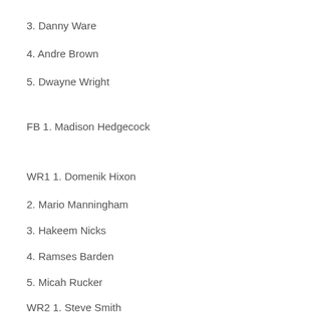3. Danny Ware
4. Andre Brown
5. Dwayne Wright
FB 1. Madison Hedgecock
WR1 1. Domenik Hixon
2. Mario Manningham
3. Hakeem Nicks
4. Ramses Barden
5. Micah Rucker
WR2 1. Steve Smith